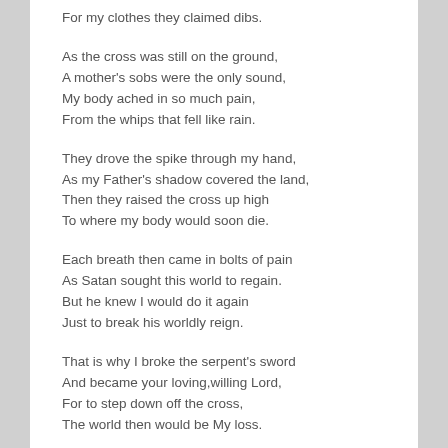For my clothes they claimed dibs.
As the cross was still on the ground,
A mother’s sobs were the only sound,
My body ached in so much pain,
From the whips that fell like rain.
They drove the spike through my hand,
As my Father’s shadow covered the land,
Then they raised the cross up high
To where my body would soon die.
Each breath then came in bolts of pain
As Satan sought this world to regain.
But he knew I would do it again
Just to break his worldly reign.
That is why I broke the serpent's sword
And became your loving,willing Lord,
For to step down off the cross,
The world then would be My loss.